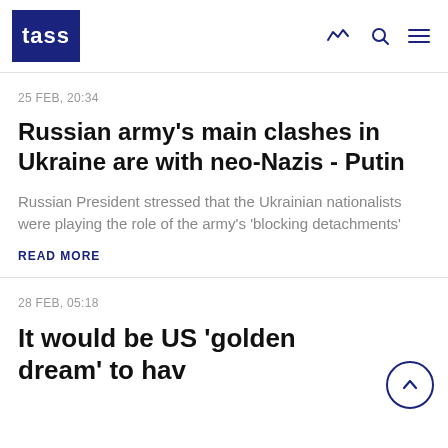TASS
25 FEB, 20:34
Russian army’s main clashes in Ukraine are with neo-Nazis - Putin
Russian President stressed that the Ukrainian nationalists were playing the role of the army’s ‘blocking detachments’
READ MORE
28 FEB, 05:18
It would be US ‘golden dream’ to hav